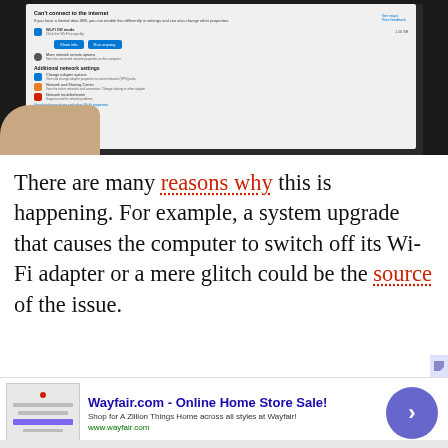[Figure (screenshot): Screenshot of a Windows network troubleshooting dialog on a laptop screen, showing Wi-Fi connection options, network settings, and troubleshoot buttons. A hand is visible holding the device.]
There are many reasons why this is happening. For example, a system upgrade that causes the computer to switch off its Wi-Fi adapter or a mere glitch could be the source of the issue.
[Figure (screenshot): Infolinks advertisement banner for Wayfair.com - Online Home Store Sale! Shop for A Zillion Things Home across all styles at Wayfair! www.wayfair.com]